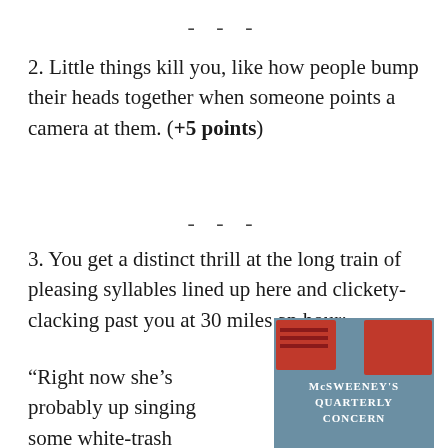- - -
2. Little things kill you, like how people bump their heads together when someone points a camera at them. (+5 points)
- - -
3. You get a distinct thrill at the long train of pleasing syllables lined up here and clickety-clacking past you at 30 miles an hour:
“Right now she’s probably up singing some white-trash version of Shania karaoke.” (+5
[Figure (photo): Cover of McSweeney's Quarterly Concern book/magazine with red and blue design]